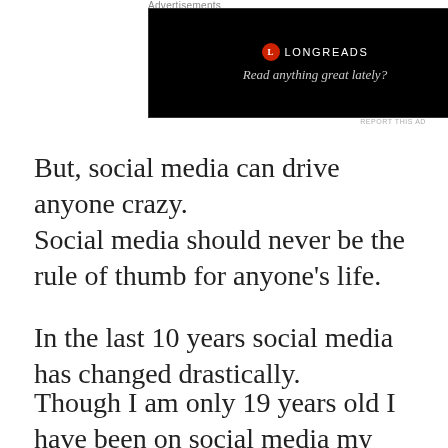Advertisements
[Figure (other): Longreads advertisement banner with black background, red circular logo with 'L', brand name 'LONGREADS', and tagline 'Read anything great lately?']
REPORT THIS AD
But, social media can drive anyone crazy.
Social media should never be the rule of thumb for anyone’s life.
In the last 10 years social media has changed drastically.
Though I am only 19 years old I have been on social media my entire life.